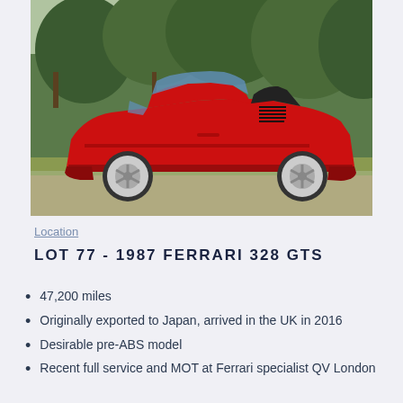[Figure (photo): Side profile of a red 1987 Ferrari 328 GTS with white alloy wheels, parked on a road with trees in the background]
Location
LOT 77 - 1987 FERRARI 328 GTS
47,200 miles
Originally exported to Japan, arrived in the UK in 2016
Desirable pre-ABS model
Recent full service and MOT at Ferrari specialist QV London